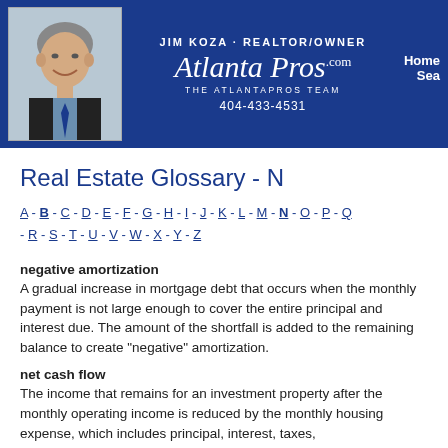JIM KOZA · REALTOR/OWNER | AtlantaPros.com | THE ATLANTAPROS TEAM | 404-433-4531 | Home | Sea...
Real Estate Glossary - N
A - B - C - D - E - F - G - H - I - J - K - L - M - N - O - P - Q - R - S - T - U - V - W - X - Y - Z
negative amortization
A gradual increase in mortgage debt that occurs when the monthly payment is not large enough to cover the entire principal and interest due. The amount of the shortfall is added to the remaining balance to create "negative" amortization.
net cash flow
The income that remains for an investment property after the monthly operating income is reduced by the monthly housing expense, which includes principal, interest, taxes,